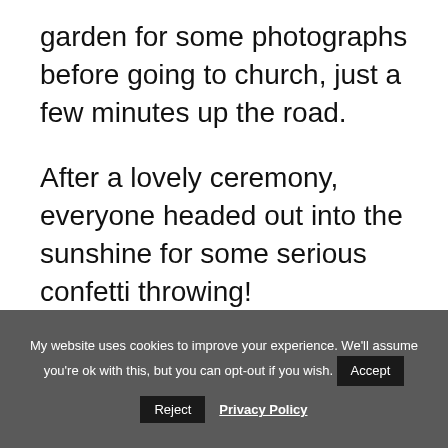garden for some photographs before going to church, just a few minutes up the road.
After a lovely ceremony, everyone headed out into the sunshine for some serious confetti throwing!
As all of the guests made their way to the
My website uses cookies to improve your experience. We'll assume you're ok with this, but you can opt-out if you wish. Accept Reject Privacy Policy